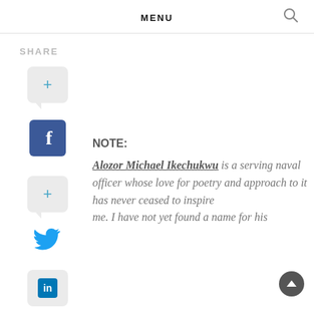MENU
SHARE
NOTE: Alozor Michael Ikechukwu is a serving naval officer whose love for poetry and approach to it has never ceased to inspire me. I have not yet found a name for his